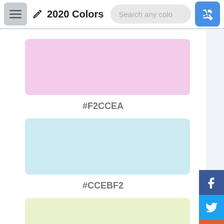2020 Colors
[Figure (illustration): Pink color swatch rectangle]
#F2CCEA
[Figure (illustration): Light blue color swatch rectangle]
#CCEBF2
[Figure (illustration): Light yellow-green color swatch rectangle]
#EAF2CC